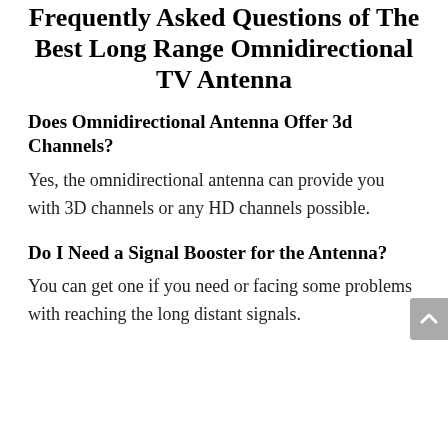Frequently Asked Questions of The Best Long Range Omnidirectional TV Antenna
Does Omnidirectional Antenna Offer 3d Channels?
Yes, the omnidirectional antenna can provide you with 3D channels or any HD channels possible.
Do I Need a Signal Booster for the Antenna?
You can get one if you need or facing some problems with reaching the long distant signals.